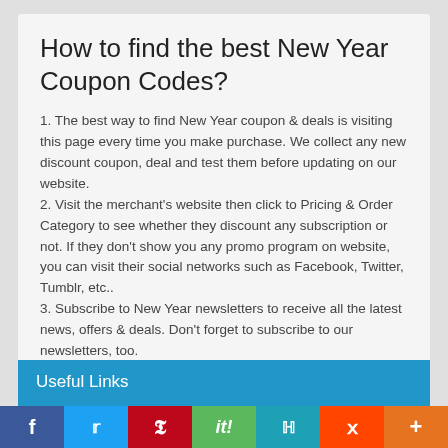How to find the best New Year Coupon Codes?
1. The best way to find New Year coupon & deals is visiting this page every time you make purchase. We collect any new discount coupon, deal and test them before updating on our website.
2. Visit the merchant's website then click to Pricing & Order Category to see whether they discount any subscription or not. If they don't show you any promo program on website, you can visit their social networks such as Facebook, Twitter, Tumblr, etc..
3. Subscribe to New Year newsletters to receive all the latest news, offers & deals. Don't forget to subscribe to our newsletters, too.
Useful Links